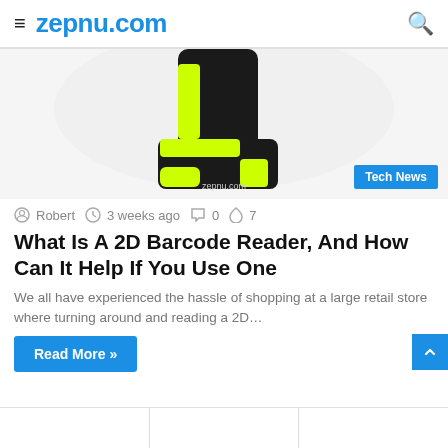≡ zepnu.com 🔍
[Figure (photo): A black and neon yellow/green boot/shoe photographed against a white background. A 'Tech News' badge is shown in the bottom right of the image area.]
Robert  3 weeks ago  0  7
What Is A 2D Barcode Reader, And How Can It Help If You Use One
We all have experienced the hassle of shopping at a large retail store where turning around and reading a 2D…
Read More »